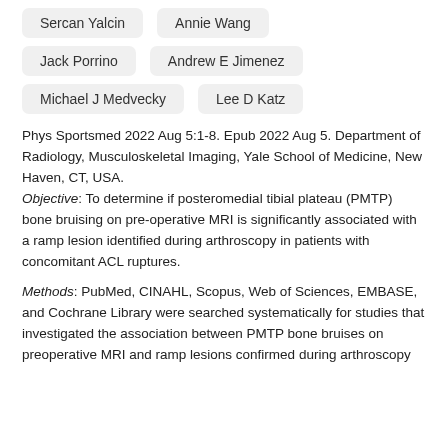Sercan Yalcin
Annie Wang
Jack Porrino
Andrew E Jimenez
Michael J Medvecky
Lee D Katz
Phys Sportsmed 2022 Aug 5:1-8. Epub 2022 Aug 5. Department of Radiology, Musculoskeletal Imaging, Yale School of Medicine, New Haven, CT, USA. Objective: To determine if posteromedial tibial plateau (PMTP) bone bruising on pre-operative MRI is significantly associated with a ramp lesion identified during arthroscopy in patients with concomitant ACL ruptures.
Methods: PubMed, CINAHL, Scopus, Web of Sciences, EMBASE, and Cochrane Library were searched systematically for studies that investigated the association between PMTP bone bruises on preoperative MRI and ramp lesions confirmed during arthroscopy